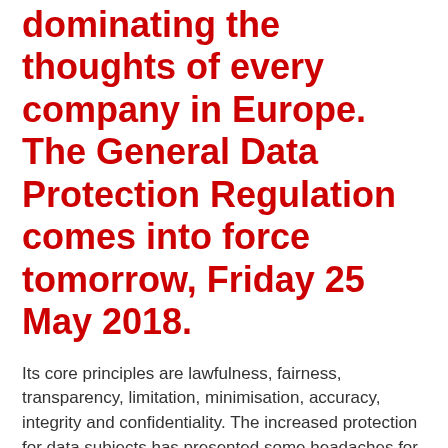dominating the thoughts of every company in Europe. The General Data Protection Regulation comes into force tomorrow, Friday 25 May 2018.
Its core principles are lawfulness, fairness, transparency, limitation, minimisation, accuracy, integrity and confidentiality. The increased protection for data subjects has presented some headaches for employers.
One such challenge comes from immigration law. The hiring of migrant workers necessarily involves processing a huge amount of personal data (and often sensitive personal data), by employers and other parties (such as